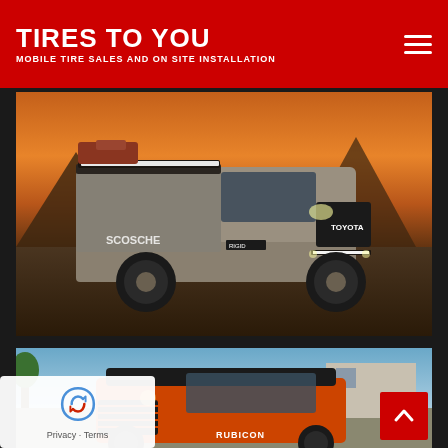TIRES TO YOU — MOBILE TIRE SALES AND ON SITE INSTALLATION
[Figure (photo): Modified Toyota Tacoma pickup truck with roof rack, LED light bar, and off-road tires (Scosche/Rigid branded) photographed outdoors at dusk with mountains in background]
[Figure (photo): Orange Jeep Wrangler Rubicon with roof down photographed in a parking area with building in background]
Privacy · Terms